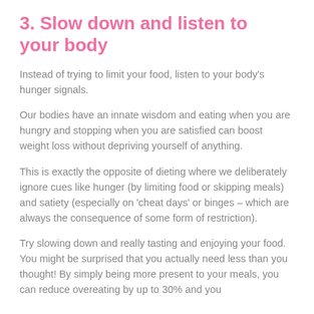3. Slow down and listen to your body
Instead of trying to limit your food, listen to your body's hunger signals.
Our bodies have an innate wisdom and eating when you are hungry and stopping when you are satisfied can boost weight loss without depriving yourself of anything.
This is exactly the opposite of dieting where we deliberately ignore cues like hunger (by limiting food or skipping meals) and satiety (especially on 'cheat days' or binges – which are always the consequence of some form of restriction).
Try slowing down and really tasting and enjoying your food. You might be surprised that you actually need less than you thought! By simply being more present to your meals, you can reduce overeating by up to 30% and you